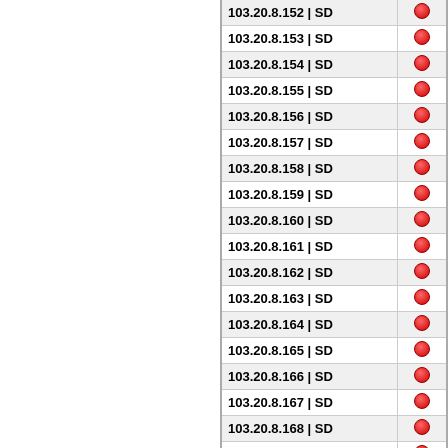| IP | Region | Flag |
| --- | --- |
| 103.20.8.152 | SD | ● |
| 103.20.8.153 | SD | ● |
| 103.20.8.154 | SD | ● |
| 103.20.8.155 | SD | ● |
| 103.20.8.156 | SD | ● |
| 103.20.8.157 | SD | ● |
| 103.20.8.158 | SD | ● |
| 103.20.8.159 | SD | ● |
| 103.20.8.160 | SD | ● |
| 103.20.8.161 | SD | ● |
| 103.20.8.162 | SD | ● |
| 103.20.8.163 | SD | ● |
| 103.20.8.164 | SD | ● |
| 103.20.8.165 | SD | ● |
| 103.20.8.166 | SD | ● |
| 103.20.8.167 | SD | ● |
| 103.20.8.168 | SD | ● |
| 103.20.8.169 | SD | ● |
| 103.20.8.170 | SD | ● |
| 103.20.8.171 | SD | ● |
| 103.20.8.172 | SD | ● |
| 103.20.8.173 | SD | ● |
| 103.20.8.174 | SD | ● |
| 103.20.8.175 | SD | ● |
| 103.20.8.176 | SD | ● |
| 103.20.8.177 | SD | ● |